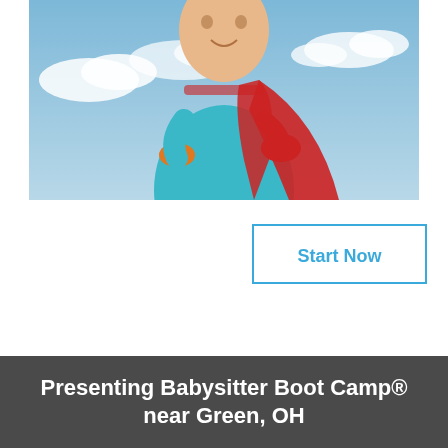[Figure (photo): A child dressed as a superhero wearing a teal/cyan shirt and red cape, standing with hands on hips against a blue sky with clouds background.]
Start Now
Presenting Babysitter Boot Camp® near Green, OH